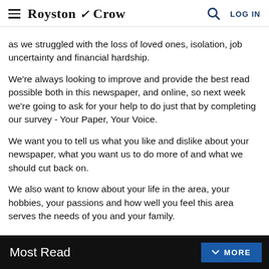Royston Crow — navigation bar with hamburger menu, logo, search icon, LOG IN
as we struggled with the loss of loved ones, isolation, job uncertainty and financial hardship.
We're always looking to improve and provide the best read possible both in this newspaper, and online, so next week we're going to ask for your help to do just that by completing our survey - Your Paper, Your Voice.
We want you to tell us what you like and dislike about your newspaper, what you want us to do more of and what we should cut back on.
We also want to know about your life in the area, your hobbies, your passions and how well you feel this area serves the needs of you and your family.
Most Read